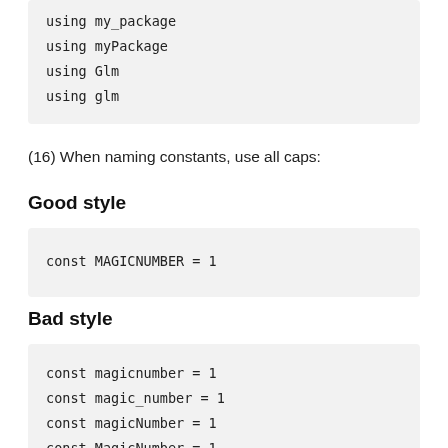using my_package
using myPackage
using Glm
using glm
(16) When naming constants, use all caps:
Good style
const MAGICNUMBER = 1
Bad style
const magicnumber = 1
const magic_number = 1
const magicNumber = 1
const MagicNumber = 1